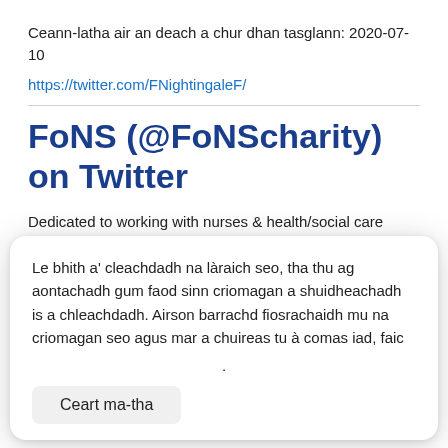Ceann-latha air an deach a chur dhan tasglann: 2020-07-10
https://twitter.com/FNightingaleF/
FoNS (@FoNScharity) on Twitter
Dedicated to working with nurses & health/social care
Le bhith a' cleachdadh na làraich seo, tha thu ag aontachadh gum faod sinn criomagan a shuidheachadh is a chleachdadh. Airson barrachd fiosrachaidh mu na criomagan seo agus mar a chuireas tu à comas iad, faic
Ceart ma-tha